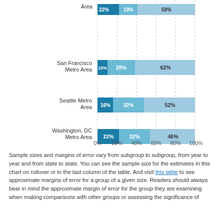[Figure (stacked-bar-chart): Metro Area broadband adoption]
Sample sizes and margins of error vary from subgroup to subgroup, from year to year and from state to state. You can see the sample size for the estimates in this chart on rollover or in the last column of the table. And visit this table to see approximate margins of error for a group of a given size. Readers should always bear in mind the approximate margin of error for the group they are examining when making comparisons with other groups or assessing the significance of